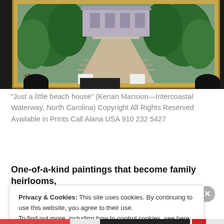[Figure (photo): Photograph of a framed painting titled 'Just a little beach house' showing a mansion with garden path, trees, and steps, displayed in a gold ornate frame on a black stand. The painting is signed 'Alana' in the lower left.]
“Just a little beach house” (Kenan Mansion—Intercoastal Waterway, North Carolina) Copyright All Rights Reserved Available in Prints Call Alana USA 910 232 5427
One-of-a-kind paintings that become family heirlooms,
Privacy & Cookies: This site uses cookies. By continuing to use this website, you agree to their use.
To find out more, including how to control cookies, see here: Cookie Policy